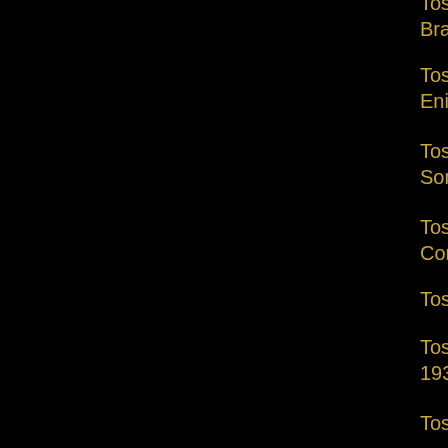Toscanini - NBC: Complete Brahms Cycle 1... Brahms, Wagner, Schubert, Scarlatti, Beethov...
Toscanini - NBC: Beethoven, Elgar Enigma Va... Enigma rehearsal
Toscanini - NBC Falstaff: Valdengo, Nelli, Elm... Somiglia, Cravenco, Vasari; 9 August 1937
Toscanini - NBC: Verdi Te Deum and Requien... Complete Dress Rehearsal
Toscanini - NBC: Kabalevsky, Cherubini, Stra...
Toscanini: NBC Brahms, Strauss; 1 Nov. 1952... 1935) and No. 3 (17 March 1935) in Improved...
Toscanini - Philharmonic Brahms Cycle 17 Fe...
Toscanini - Philharmonic Brahms Cycle Four C... 1935
Toscanini - Philharmonic Brahms Requiem: R...
Toscanini - Philharmonic Missa Solemnis: Ma...
Toscanini - Philharmonic: Brahms Symphony ... Improved sound & NBC Brahms, Strauss; 1 N...
Toscanini - Philharmonic: All Beethoven Symp...